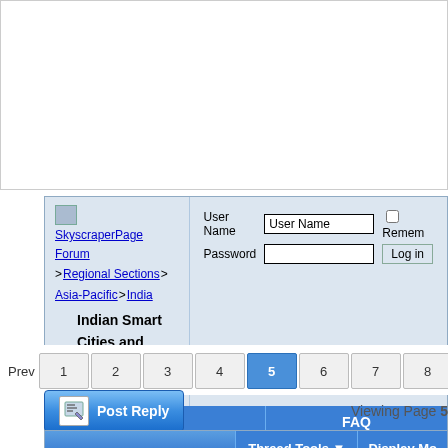[Figure (screenshot): Advertisement/banner area at top of forum page]
SkyscraperPage Forum > Regional Sections > Asia-Pacific > India | Indian Smart Cities and villages projects
User Name | Password | Remember | Log in | Register | FAQ
Prev 1 2 3 4 5 6 7 8 9 15 16 | Viewing Page 5
Post Reply
| Thread Tools | Display Mo |
| --- | --- |
Posted Dec 30, 2015, 6:17 AM #81
BolliBatlu BANED | Join Date: Mar 2010 | Location: (hindi text) | Posts: 1,061